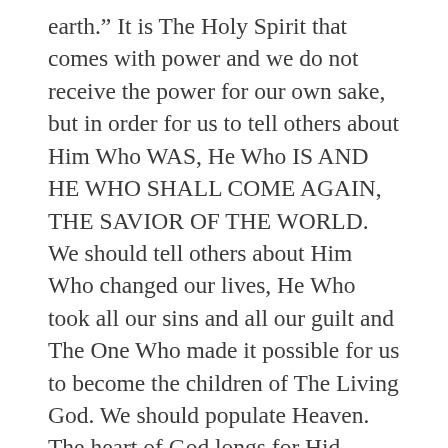earth.” It is The Holy Spirit that comes with power and we do not receive the power for our own sake, but in order for us to tell others about Him Who WAS, He Who IS AND HE WHO SHALL COME AGAIN, THE SAVIOR OF THE WORLD. We should tell others about Him Who changed our lives, He Who took all our sins and all our guilt and The One Who made it possible for us to become the children of The Living God. We should populate Heaven. The heart of God longs for Hid children and we have to help Him to get connected with many of the children that He has created. We are winning people for His Eternal Kingdom. We are the ones that decide how Heaven will be in the future, who will dwell there. We do not want any rooms to be empty. I had a vision once when I